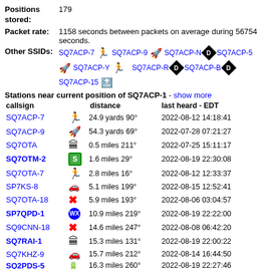Positions stored: 179
Packet rate: 1158 seconds between packets on average during 56754 seconds.
Other SSIDs: SQ7ACP-7 [runner] SQ7ACP-9 [rocket] SQ7ACP-N [D] SQ7ACP-5 [rocket] SQ7ACP-Y [runner] SQ7ACP-R [D] SQ7ACP-B [D] SQ7ACP-15 [nav]
Stations near current position of SQ7ACP-1 - show more
| callsign | distance | last heard - EDT |
| --- | --- | --- |
| SQ7ACP-7 | 24.9 yards 90° | 2022-08-12 14:18:41 |
| SQ7ACP-9 | 54.3 yards 69° | 2022-07-28 07:21:27 |
| SQ7OTA | 0.5 miles 211° | 2022-07-25 15:11:17 |
| SQ7OTM-2 | 1.6 miles 29° | 2022-08-19 22:30:08 |
| SQ7OTA-7 | 2.8 miles 16° | 2022-08-12 12:33:37 |
| SP7KS-8 | 5.1 miles 199° | 2022-08-15 12:52:41 |
| SQ7OTA-18 | 5.9 miles 193° | 2022-08-06 03:04:57 |
| SP7QPD-1 | 10.9 miles 219° | 2022-08-19 22:22:00 |
| SQ9CNN-18 | 14.6 miles 247° | 2022-08-08 06:42:20 |
| SQ7RAI-1 | 15.3 miles 131° | 2022-08-19 22:00:22 |
| SQ7KHZ-9 | 15.7 miles 212° | 2022-08-14 16:44:50 |
| SQ2PDS-5 | 16.3 miles 260° | 2022-08-19 22:27:46 |
| SQ7KPI | 16.4 miles 242° | 2022-08-12 14:42:33 |